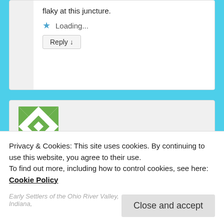flaky at this juncture.
Loading...
Reply ↓
Chloe S on March 28, 2017 at 2:39 pm said:
Thanks for letting us know that Ancestry has
Privacy & Cookies: This site uses cookies. By continuing to use this website, you agree to their use.
To find out more, including how to control cookies, see here: Cookie Policy
Close and accept
Early Settlers of the Ohio River Valley, Indiana,